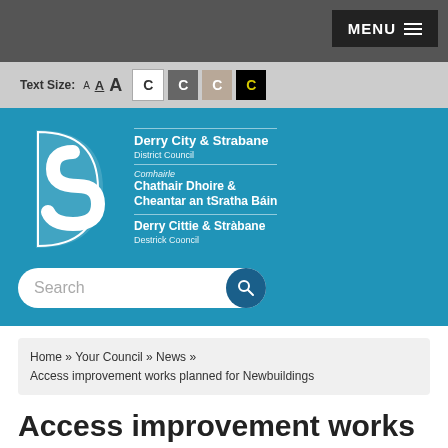MENU
Text Size: A A A C C C C
[Figure (logo): Derry City & Strabane District Council logo with stylised S shape in white on teal background. Text reads: Derry City & Strabane District Council / Comhairle Chathair Dhoire & Cheantar an tSratha Báin / Derry Cittie & Stràbane Destrick Cooncil]
Search
Home » Your Council » News » Access improvement works planned for Newbuildings
Access improvement works